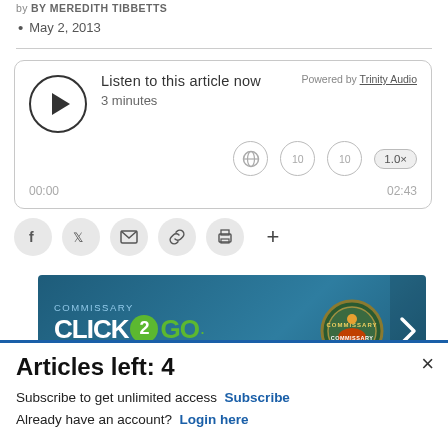by BY MEREDITH TIBBETTS
• May 2, 2013
[Figure (other): Audio player widget: Listen to this article now, 3 minutes, 00:00 / 02:43, Powered by Trinity Audio]
[Figure (other): Social sharing buttons: Facebook, Twitter, Email, Link, Print, Plus]
[Figure (other): Commissary Click2Go advertisement banner]
Articles left: 4
Subscribe to get unlimited access Subscribe
Already have an account? Login here